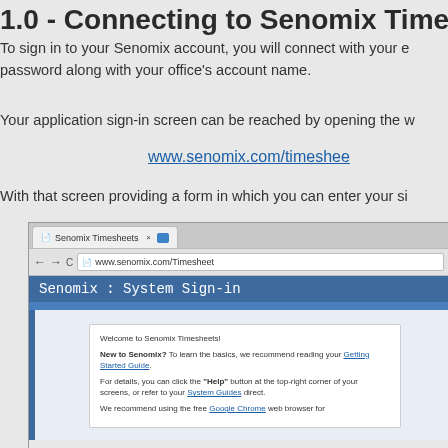1.0 - Connecting to Senomix Time Entry
To sign in to your Senomix account, you will connect with your e password along with your office's account name.
Your application sign-in screen can be reached by opening the w
www.senomix.com/timeshee
With that screen providing a form in which you can enter your si
[Figure (screenshot): Screenshot of Senomix Timesheets sign-in page in Google Chrome browser showing the Senomix : System Sign-in page with a welcome box containing Getting Started Guide and Help links and Google Chrome recommendation.]